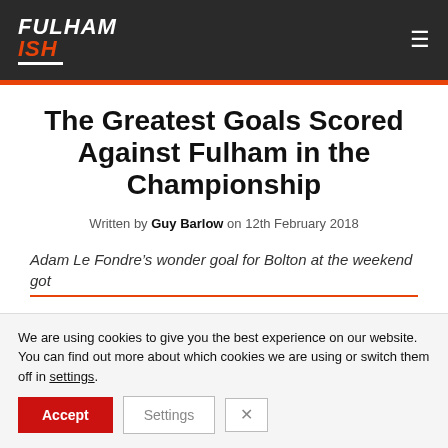Fulham ISH
The Greatest Goals Scored Against Fulham in the Championship
Written by Guy Barlow on 12th February 2018
Adam Le Fondre’s wonder goal for Bolton at the weekend got
We are using cookies to give you the best experience on our website.
You can find out more about which cookies we are using or switch them off in settings.